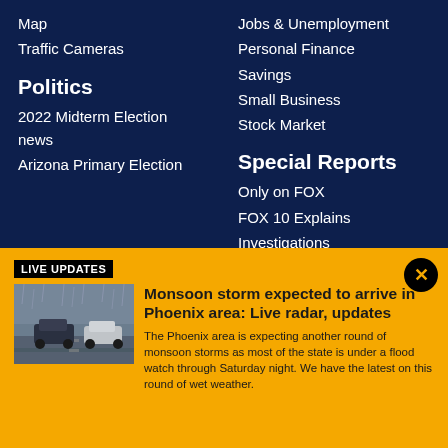Map
Traffic Cameras
Jobs & Unemployment
Personal Finance
Savings
Small Business
Stock Market
Politics
2022 Midterm Election news
Arizona Primary Election
Special Reports
Only on FOX
FOX 10 Explains
Investigations
LIVE UPDATES
[Figure (photo): Cars driving on a wet road in rainy monsoon conditions]
Monsoon storm expected to arrive in Phoenix area: Live radar, updates
The Phoenix area is expecting another round of monsoon storms as most of the state is under a flood watch through Saturday night. We have the latest on this round of wet weather.